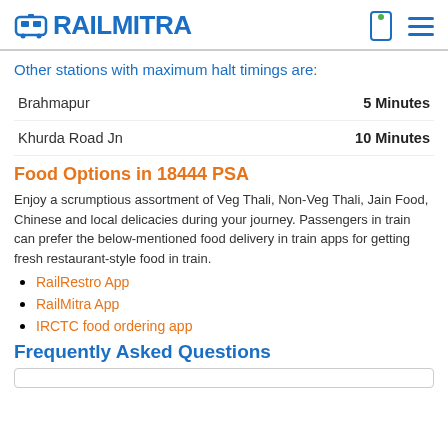RAILMITRA
Other stations with maximum halt timings are:
| Station | Time |
| --- | --- |
| Brahmapur | 5 Minutes |
| Khurda Road Jn | 10 Minutes |
Food Options in 18444 PSA
Enjoy a scrumptious assortment of Veg Thali, Non-Veg Thali, Jain Food, Chinese and local delicacies during your journey. Passengers in train can prefer the below-mentioned food delivery in train apps for getting fresh restaurant-style food in train.
RailRestro App
RailMitra App
IRCTC food ordering app
Frequently Asked Questions